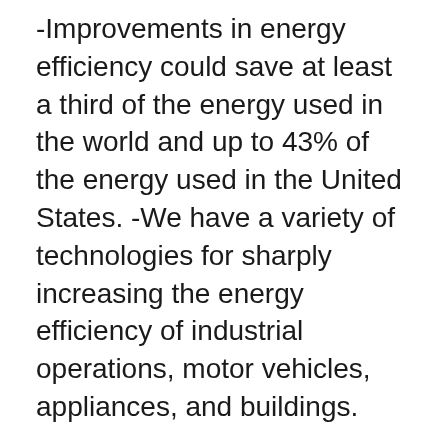-Improvements in energy efficiency could save at least a third of the energy used in the world and up to 43% of the energy used in the United States. -We have a variety of technologies for sharply increasing the energy efficiency of industrial operations, motor vehicles, appliances, and buildings.
Electricity generation
Search …
From the author